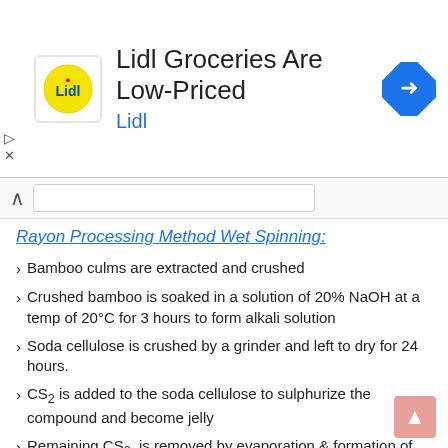[Figure (infographic): Lidl advertisement banner with logo, text 'Lidl Groceries Are Low-Priced' and 'Lidl', and a blue navigation arrow icon on the right.]
Rayon Processing Method Wet Spinning:
Bamboo culms are extracted and crushed
Crushed bamboo is soaked in a solution of 20% NaOH at a temp of 20°C for 3 hours to form alkali solution
Soda cellulose is crushed by a grinder and left to dry for 24 hours.
CS2 is added to the soda cellulose to sulphurize the compound and become jelly
Remaining CS2 is removed by evaporation & formation of Sodium Cellulose Xanthate
NaOH is added with sodium cellulose xanthate dissolving it to create a viscose solution consisting of